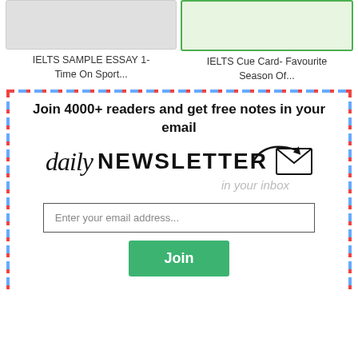[Figure (screenshot): Card with gray image thumbnail for IELTS Sample Essay 1- Time On Sport article]
IELTS SAMPLE ESSAY 1- Time On Sport...
[Figure (screenshot): Card with green-bordered image thumbnail for IELTS Cue Card- Favourite Season Of article]
IELTS Cue Card- Favourite Season Of...
[Figure (infographic): Newsletter signup box with airmail dashed border, daily NEWSLETTER graphic with envelope icon, email input field, and Join button]
Join 4000+ readers and get free notes in your email